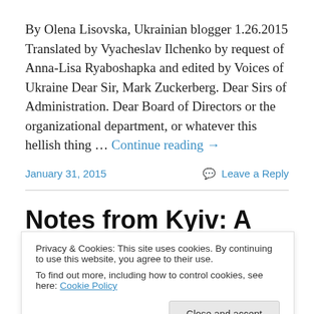By Olena Lisovska, Ukrainian blogger 1.26.2015 Translated by Vyacheslav Ilchenko by request of Anna-Lisa Ryaboshapka and edited by Voices of Ukraine Dear Sir, Mark Zuckerberg. Dear Sirs of Administration. Dear Board of Directors or the organizational department, or whatever this hellish thing … Continue reading →
January 31, 2015
Leave a Reply
Notes from Kyiv: A girl and
Privacy & Cookies: This site uses cookies. By continuing to use this website, you agree to their use.
To find out more, including how to control cookies, see here: Cookie Policy
Close and accept
located at Druzhby Narodiv [boulevard in Kyiv]. Last cash